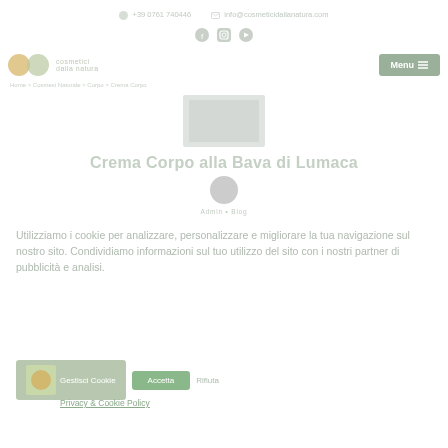+39 0761 740446  |  info@cosmeticidallanatura.com
[Figure (illustration): Social media icons: Facebook, Instagram, YouTube]
[Figure (logo): Website logo with golden circle and text]
Menu
Home > ... > Crema Corpo
[Figure (photo): Product image placeholder - Crema Corpo alla Bava di Lumaca]
Crema Corpo alla Bava di Lumaca
[Figure (photo): Author avatar - circular gray placeholder]
Admin • Blog
Utilizziamo i cookie per analizzare, personalizzare e migliorare la tua navigazione sul nostro sito. Condividiamo informazioni sul tuo utilizzo del sito con i nostri partner di pubblicità e analisi.
Gestisci Cookie  |  Accetta  |  Rifiuta
Privacy & Cookie Policy